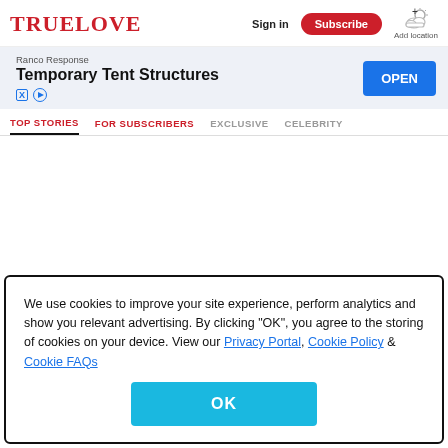TRUELOVE
[Figure (screenshot): Advertisement banner: Ranco Response — Temporary Tent Structures, with OPEN button]
TOP STORIES | FOR SUBSCRIBERS | EXCLUSIVE | CELEBRITY
We use cookies to improve your site experience, perform analytics and show you relevant advertising. By clicking "OK", you agree to the storing of cookies on your device. View our Privacy Portal, Cookie Policy & Cookie FAQs
OK